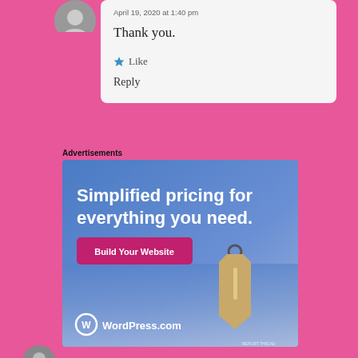April 19, 2020 at 1:40 pm
Thank you.
Like
Reply
Advertisements
[Figure (infographic): WordPress.com advertisement: 'Simplified pricing for everything you need.' with a Build Your Website button and a price tag illustration. WordPress.com logo at bottom.]